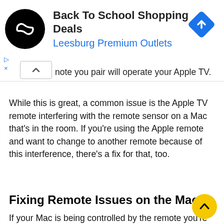[Figure (screenshot): Advertisement banner for 'Back To School Shopping Deals' at Leesburg Premium Outlets with logo, text, and navigation icon]
note you pair will operate your Apple TV.
While this is great, a common issue is the Apple TV remote interfering with the remote sensor on a Mac that's in the room. If you're using the Apple remote and want to change to another remote because of this interference, there's a fix for that, too.
Fixing Remote Issues on the Mac
If your Mac is being controlled by the remote you're using for your Apple TV, you can do a few things to change this on the Mac itself. First, you can disable remotes completely on the Mac by going to System Preferences > Security & Privacy and click on the General tab.